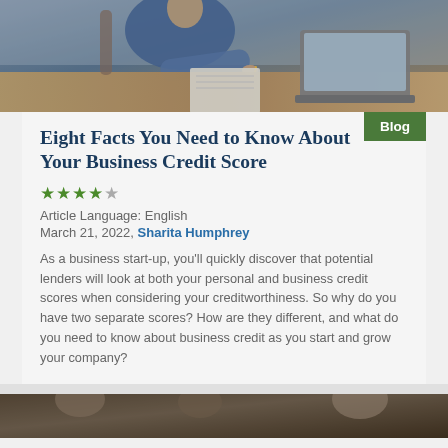[Figure (photo): Photo of a person in a blue shirt writing notes at a desk with a laptop, notebook, and papers visible]
Eight Facts You Need to Know About Your Business Credit Score
★★★★☆
Article Language: English
March 21, 2022, Sharita Humphrey
As a business start-up, you'll quickly discover that potential lenders will look at both your personal and business credit scores when considering your creditworthiness. So why do you have two separate scores? How are they different, and what do you need to know about business credit as you start and grow your company?
[Figure (photo): Partial photo of people at bottom of page]